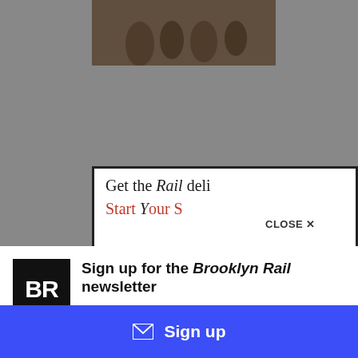[Figure (photo): Partial screenshot of a webpage showing a grayscale background with a historical photograph partially visible at top, and an advertisement banner with text 'Get the Rail deli...' and 'Start Your S...' in red, with a CLOSE X button overlay]
[Figure (logo): Brooklyn Rail BR logo - black square with white letters BR]
Sign up for the Brooklyn Rail newsletter
Get notified about upcoming live conversations with artists and when the next issue of the Rail drops.
Sign up